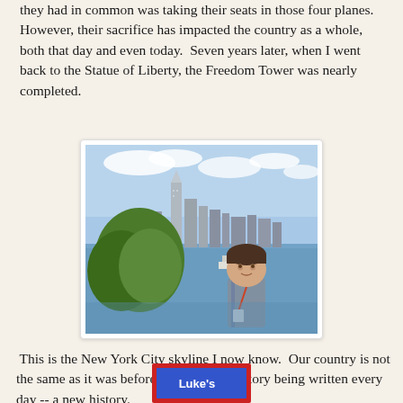they had in common was taking their seats in those four planes. However, their sacrifice has impacted the country as a whole, both that day and even today.  Seven years later, when I went back to the Statue of Liberty, the Freedom Tower was nearly completed.
[Figure (photo): A teenage boy standing in front of the New York City skyline across the water, with a green tree to the left and a boat visible on the water. The Freedom Tower is visible among the skyscrapers.]
This is the New York City skyline I now know.  Our country is not the same as it was before, but has a new story being written every day -- a new history.
[Figure (other): Bottom of a book cover showing "Luke's" in white text on a blue background with a red border.]